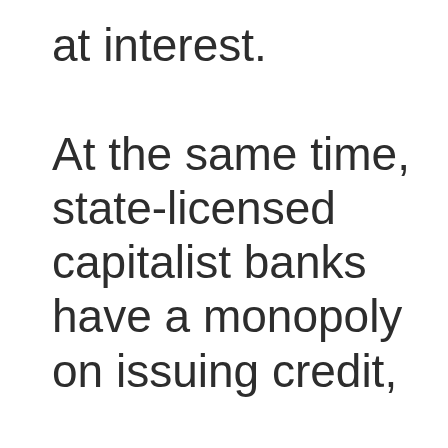at interest. At the same time, state-licensed capitalist banks have a monopoly on issuing credit,